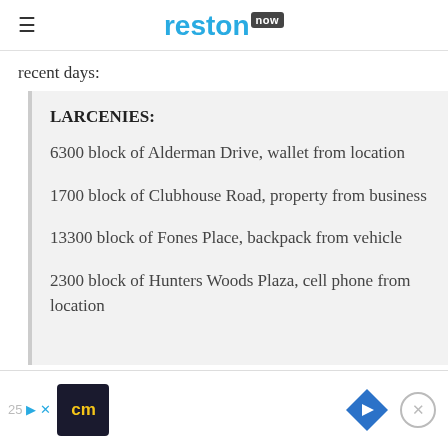reston now
recent days:
LARCENIES:
6300 block of Alderman Drive, wallet from location
1700 block of Clubhouse Road, property from business
13300 block of Fones Place, backpack from vehicle
2300 block of Hunters Woods Plaza, cell phone from location